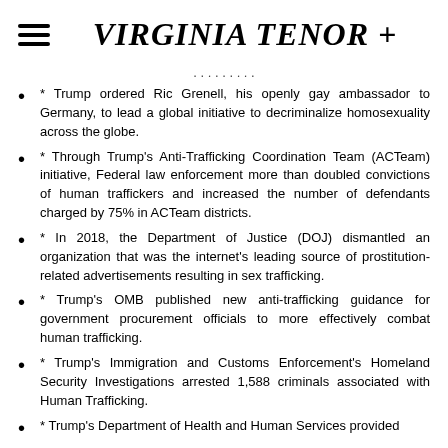VIRGINIA TENOR +
(partial/truncated previous item)
* Trump ordered Ric Grenell, his openly gay ambassador to Germany, to lead a global initiative to decriminalize homosexuality across the globe.
* Through Trump's Anti-Trafficking Coordination Team (ACTeam) initiative, Federal law enforcement more than doubled convictions of human traffickers and increased the number of defendants charged by 75% in ACTeam districts.
* In 2018, the Department of Justice (DOJ) dismantled an organization that was the internet's leading source of prostitution-related advertisements resulting in sex trafficking.
* Trump's OMB published new anti-trafficking guidance for government procurement officials to more effectively combat human trafficking.
* Trump's Immigration and Customs Enforcement's Homeland Security Investigations arrested 1,588 criminals associated with Human Trafficking.
* Trump's Department of Health and Human Services provided